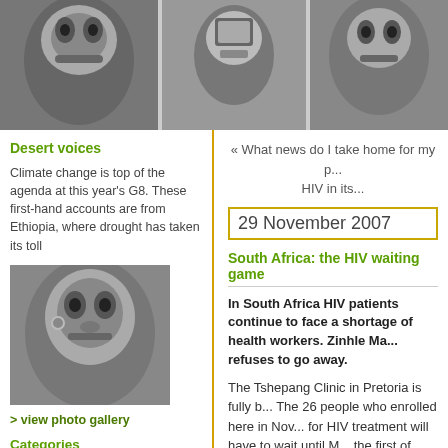[Figure (photo): Black and white banner with three portrait photos: a person looking sideways, a person holding a device, and a person looking upward]
Desert voices
Climate change is top of the agenda at this year's G8. These first-hand accounts are from Ethiopia, where drought has taken its toll
[Figure (photo): Black and white close-up portrait of a person with earrings]
> view photo gallery
Categories
africa-led development  angela merkel
« What news do I take home for my p... HIV in its...
29 November 2007
South Africa: the HIV waiting game
In South Africa HIV patients continue to face a shortage of health workers. Zinhle Ma... refuses to go away.
The Tshepang Clinic in Pretoria is fully b... The 26 people who enrolled here in Nov... for HIV treatment will have to wait until M... the first of three counselling sessions. Completing these sessions is mandatory... anyone who wants antiretroviral drugs.